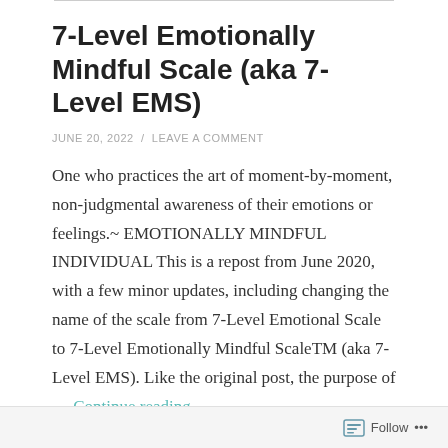7-Level Emotionally Mindful Scale (aka 7-Level EMS)
JUNE 20, 2022 / LEAVE A COMMENT
One who practices the art of moment-by-moment, non-judgmental awareness of their emotions or feelings.~ EMOTIONALLY MINDFUL INDIVIDUAL This is a repost from June 2020, with a few minor updates, including changing the name of the scale from 7-Level Emotional Scale to 7-Level Emotionally Mindful ScaleTM (aka 7-Level EMS). Like the original post, the purpose of … Continue reading
Follow